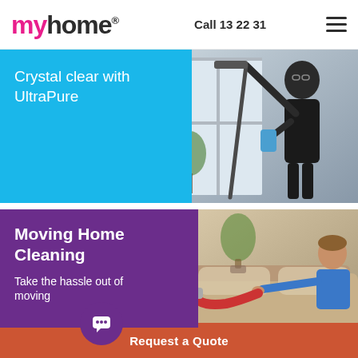[Figure (logo): myhome logo in pink and dark text with registered trademark symbol]
Call 13 22 31
[Figure (photo): Man in dark uniform cleaning a window with a squeegee and spray bottle]
Crystal clear with UltraPure
[Figure (photo): Person vacuuming/cleaning a sofa in a living room]
Moving Home Cleaning
Take the hassle out of moving
Request a Quote